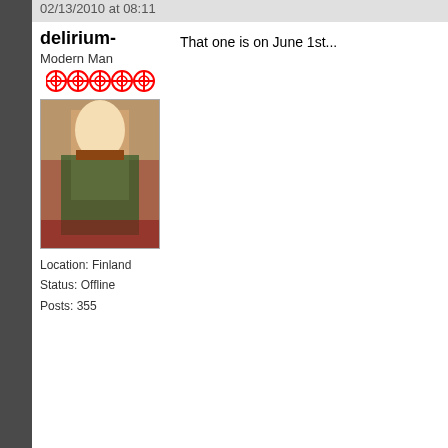delirium-
Modern Man
02/13/2010 at 08:11
[Figure (photo): User avatar photo of delirium-]
That one is on June 1st...
Location: Finland
Status: Offline
Posts: 355
badrelgnsf
The Same Person
02/13/2010 at 06:09
[Figure (illustration): Yellow smiley face with X eyes and wavy mouth avatar for badrelgnsf]
aki im pretty sure thats not it

forget the area part..
just try carroponte :P

from my basic italian all carroponte means is CRA
an outdoor area.. area of the crane..
lost in ramble nation
Location: Sacramento CA
Status: Offline
Posts: 2097
http://tinyurl.com/ykfnq9r
this is where i got the address from another fest..